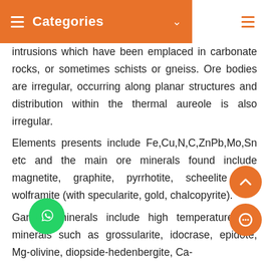Categories
intrusions which have been emplaced in carbonate rocks, or sometimes schists or gneiss. Ore bodies are irregular, occurring along planar structures and distribution within the thermal aureole is also irregular.
Elements presents include Fe,Cu,N,C,ZnPb,Mo,Sn etc and the main ore minerals found include magnetite, graphite, pyrrhotite, scheelite and wolframite (with specularite, gold, chalcopyrite).
Gangue minerals include high temperaturearn minerals such as grossularite, idocrase, epidote, Mg-olivine, diopside-hedenbergite, Ca-